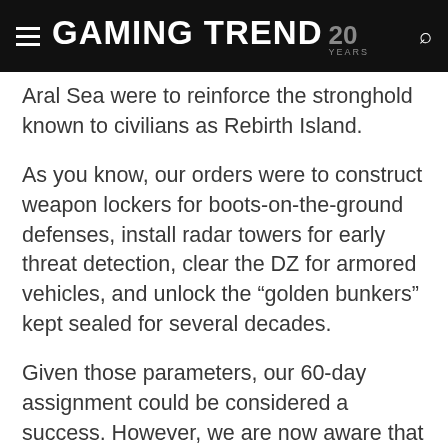GAMING TREND 20 YEARS
Aral Sea were to reinforce the stronghold known to civilians as Rebirth Island.
As you know, our orders were to construct weapon lockers for boots-on-the-ground defenses, install radar towers for early threat detection, clear the DZ for armored vehicles, and unlock the “golden bunkers” kept sealed for several decades.
Given those parameters, our 60-day assignment could be considered a success. However, we are now aware that at least some of these upgrades